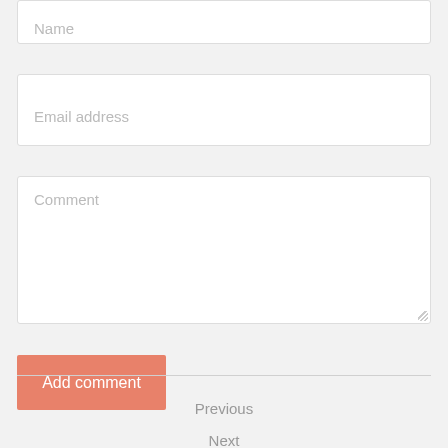Name
Email address
Comment
Add comment
Previous
Next